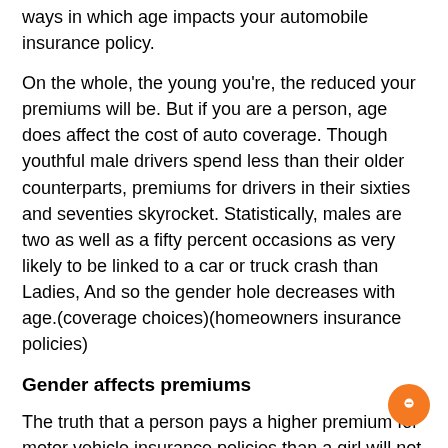ways in which age impacts your automobile insurance policy.
On the whole, the young you're, the reduced your premiums will be. But if you are a person, age does affect the cost of auto coverage. Though youthful male drivers spend less than their older counterparts, premiums for drivers in their sixties and seventies skyrocket. Statistically, males are two as well as a fifty percent occasions as very likely to be linked to a car or truck crash than Ladies, And so the gender hole decreases with age.(coverage choices)(homeowners insurance policies)
Gender affects premiums
The truth that a person pays a higher premium for motor vehicle insurance policies than a girl will not be completely surprising. Numerous Males make very poor alternatives whilst driving, leading to more accidents and statements. Even so, There are some factors which make Guys costlier to insure. Here are a few of the top reasons why. Keep reading